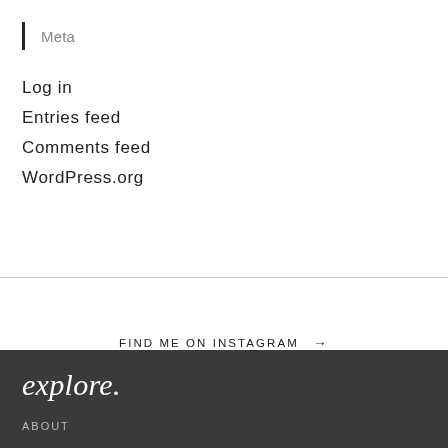Meta
Log in
Entries feed
Comments feed
WordPress.org
FIND ME ON INSTAGRAM →
explore.
ABOUT